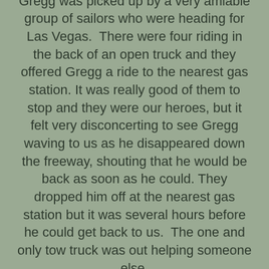Gregg was picked up by a very amiable group of sailors who were heading for Las Vegas.  There were four riding in the back of an open truck and they offered Gregg a ride to the nearest gas station. It was really good of them to stop and they were our heroes, but it felt very disconcerting to see Gregg waving to us as he disappeared down the freeway, shouting that he would be back as soon as he could. They dropped him off at the nearest gas station but it was several hours before he could get back to us.  The one and only tow truck was out helping someone else.